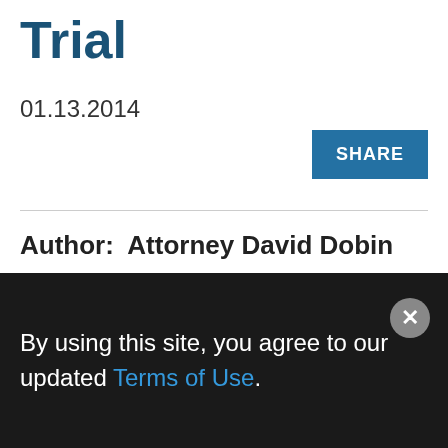Trial
01.13.2014
SHARE
Author:  Attorney David Dobin
One of the most formidable tasks for new litigators is preparing for their first trial. In a recent book published by the American Bar Association How to Succeed as a Trial Lawyer, attorney Stewart Edelstein provides useful insight into a wide range of issues facing
By using this site, you agree to our updated Terms of Use.